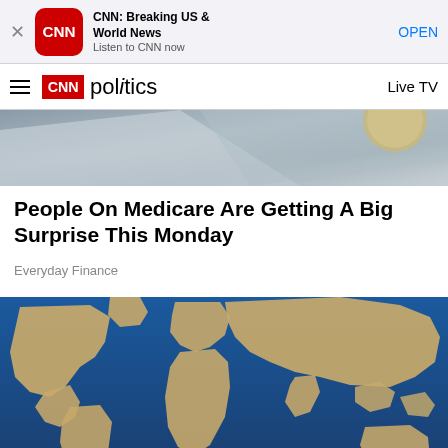[Figure (screenshot): App store banner for CNN Breaking US & World News app with close button, CNN icon, app name, tagline 'Listen to CNN now', and OPEN button]
CNN politics   Live TV
[Figure (photo): Partial photo of money/documents, top of article image]
People On Medicare Are Getting A Big Surprise This Monday
Everyday Finance
[Figure (photo): World map made of sand/grain texture on blue ocean background]